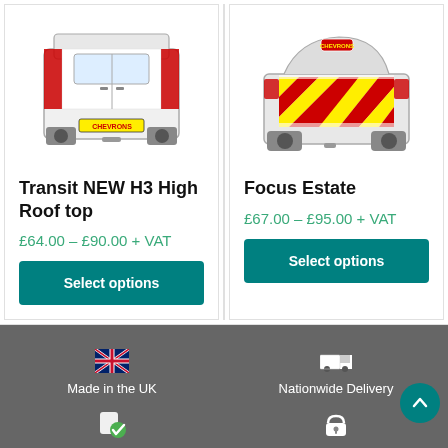[Figure (illustration): Rear view illustration of a Transit NEW H3 High Roof top van with red/white chevron markings and yellow license plate]
Transit NEW H3 High Roof top
£64.00 – £90.00 + VAT
Select options
[Figure (illustration): Rear view illustration of a Focus Estate car with red/yellow chevron markings]
Focus Estate
£67.00 – £95.00 + VAT
Select options
Made in the UK | Nationwide Delivery | Quality Controlled | Safe and Secure Ordering